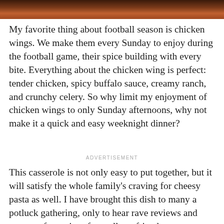[Figure (photo): Top portion of a photo strip showing food, likely chicken wings, with dark reddish-brown tones visible at the top of the page.]
My favorite thing about football season is chicken wings. We make them every Sunday to enjoy during the football game, their spice building with every bite. Everything about the chicken wing is perfect: tender chicken, spicy buffalo sauce, creamy ranch, and crunchy celery. So why limit my enjoyment of chicken wings to only Sunday afternoons, why not make it a quick and easy weeknight dinner?
ADVERTISEMENT
This casserole is not only easy to put together, but it will satisfy the whole family’s craving for cheesy pasta as well. I have brought this dish to many a potluck gathering, only to hear rave reviews and requests for recipes from all my friends.